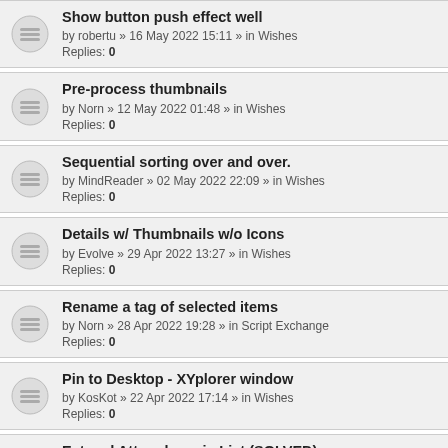Show button push effect well
by robertu » 16 May 2022 15:11 » in Wishes
Replies: 0
Pre-process thumbnails
by Norn » 12 May 2022 01:48 » in Wishes
Replies: 0
Sequential sorting over and over.
by MindReader » 02 May 2022 22:09 » in Wishes
Replies: 0
Details w/ Thumbnails w/o Icons
by Evolve » 29 Apr 2022 13:27 » in Wishes
Replies: 0
Rename a tag of selected items
by Norn » 28 Apr 2022 19:28 » in Script Exchange
Replies: 0
Pin to Desktop - XYplorer window
by KosKot » 22 Apr 2022 17:14 » in Wishes
Replies: 0
Ext and Attr colums in List (SOLVED)
by XY fan » 20 Apr 2022 13:00 » in Tips & Tricks, Questions & Answers